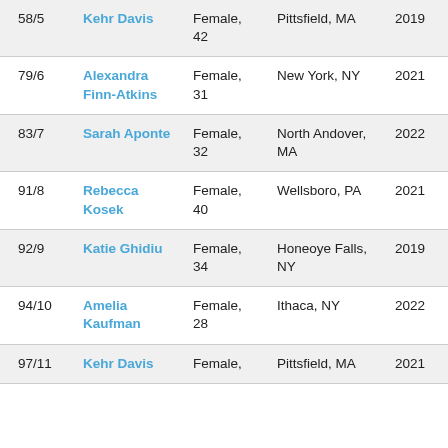| 58/5 | Kehr Davis | Female, 42 | Pittsfield, MA | 2019 |
| 79/6 | Alexandra Finn-Atkins | Female, 31 | New York, NY | 2021 |
| 83/7 | Sarah Aponte | Female, 32 | North Andover, MA | 2022 |
| 91/8 | Rebecca Kosek | Female, 40 | Wellsboro, PA | 2021 |
| 92/9 | Katie Ghidiu | Female, 34 | Honeoye Falls, NY | 2019 |
| 94/10 | Amelia Kaufman | Female, 28 | Ithaca, NY | 2022 |
| 97/11 | Kehr Davis | Female, | Pittsfield, MA | 2021 |